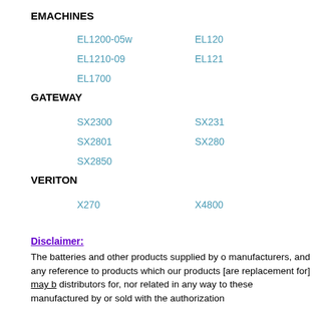EMACHINES
EL1200-05w
EL1200-...
EL1210-09
EL121...
EL1700
GATEWAY
SX2300
SX231...
SX2801
SX280...
SX2850
VERITON
X270
X4800...
Disclaimer:
The batteries and other products supplied by o manufacturers, and any reference to products which our products [are replacement for] may b distributors for, nor related in any way to these manufactured by or sold with the authorization